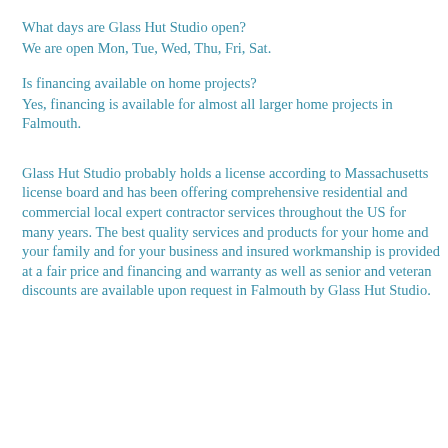What days are Glass Hut Studio open?
We are open Mon, Tue, Wed, Thu, Fri, Sat.
Is financing available on home projects?
Yes, financing is available for almost all larger home projects in Falmouth.
Glass Hut Studio probably holds a license according to Massachusetts license board and has been offering comprehensive residential and commercial local expert contractor services throughout the US for many years. The best quality services and products for your home and your family and for your business and insured workmanship is provided at a fair price and financing and warranty as well as senior and veteran discounts are available upon request in Falmouth by Glass Hut Studio.